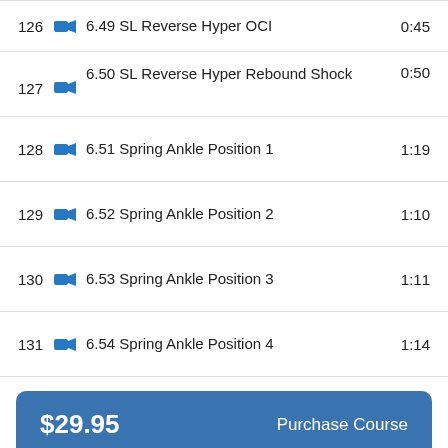| # | Icon | Title | Duration |
| --- | --- | --- | --- |
| 126 | video | 6.49 SL Reverse Hyper OCI | 0:45 |
| 127 | video | 6.50 SL Reverse Hyper Rebound Shock | 0:50 |
| 128 | video | 6.51 Spring Ankle Position 1 | 1:19 |
| 129 | video | 6.52 Spring Ankle Position 2 | 1:10 |
| 130 | video | 6.53 Spring Ankle Position 3 | 1:11 |
| 131 | video | 6.54 Spring Ankle Position 4 | 1:14 |
$29.95  Purchase Course
0  Add to Cart